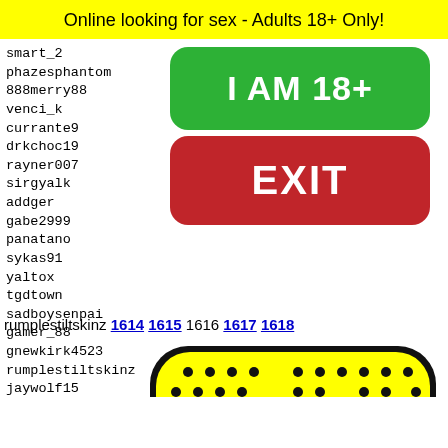Online looking for sex - Adults 18+ Only!
smart_2
phazesphantom
888merry88
venci_k
currante9
drkchoc19
rayner007
sirgyalk
addger
gabe2999
panatano
sykas91
yaltox
tgdtown
sadboysenpai
gamer_88
gnewkirk4523
rumplestiltskinz
jaywolf15
ligend
shammi
rantam
anasob
toine1
lukasz
[Figure (infographic): Green rounded button labeled I AM 18+ and red rounded button labeled EXIT]
1614 1615 1616 1617 1618
[Figure (illustration): Yellow Snapchat ghost logo with black border and dots pattern]